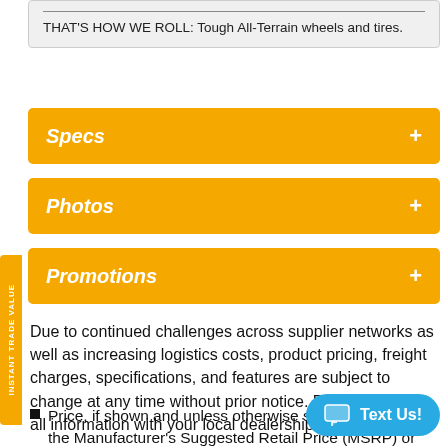THAT'S HOW WE ROLL: Tough All-Terrain wheels and tires.
Specs +
Photos +
Promotions +
Due to continued challenges across supplier networks as well as increasing logistics costs, product pricing, freight charges, specifications, and features are subject to change at any time without prior notice. Please confirm all information with your local dealership.
Price, if shown and unless otherwise stated, represents the Manufacturer's Suggested Retail Price (MSRP) or dealer unit price and does not